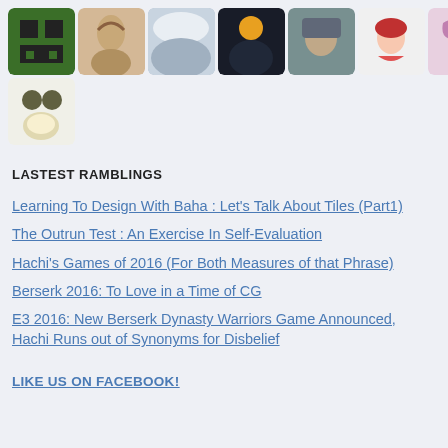[Figure (illustration): Grid of avatar profile pictures, 11 in first row and 1 in second row, showing various cartoon and photo avatars]
LASTEST RAMBLINGS
Learning To Design With Baha : Let's Talk About Tiles (Part1)
The Outrun Test : An Exercise In Self-Evaluation
Hachi's Games of 2016 (For Both Measures of that Phrase)
Berserk 2016: To Love in a Time of CG
E3 2016: New Berserk Dynasty Warriors Game Announced, Hachi Runs out of Synonyms for Disbelief
LIKE US ON FACEBOOK!